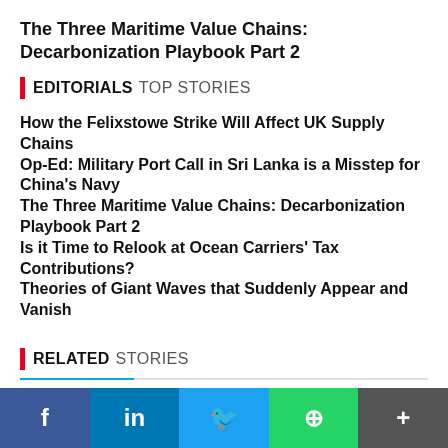The Three Maritime Value Chains: Decarbonization Playbook Part 2
EDITORIALS TOP STORIES
How the Felixstowe Strike Will Affect UK Supply Chains
Op-Ed: Military Port Call in Sri Lanka is a Misstep for China's Navy
The Three Maritime Value Chains: Decarbonization Playbook Part 2
Is it Time to Relook at Ocean Carriers' Tax Contributions?
Theories of Giant Waves that Suddenly Appear and Vanish
RELATED STORIES